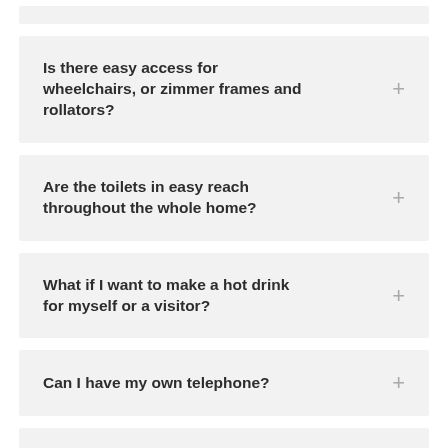Is there easy access for wheelchairs, or zimmer frames and rollators?
Are the toilets in easy reach throughout the whole home?
What if I want to make a hot drink for myself or a visitor?
Can I have my own telephone?